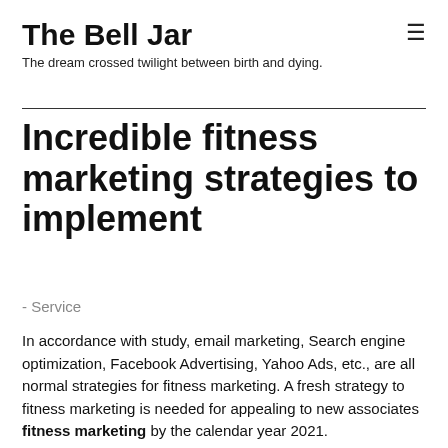The Bell Jar
The dream crossed twilight between birth and dying.
Incredible fitness marketing strategies to implement
- Service
In accordance with study, email marketing, Search engine optimization, Facebook Advertising, Yahoo Ads, etc., are all normal strategies for fitness marketing. A fresh strategy to fitness marketing is needed for appealing to new associates fitness marketing by the calendar year 2021.